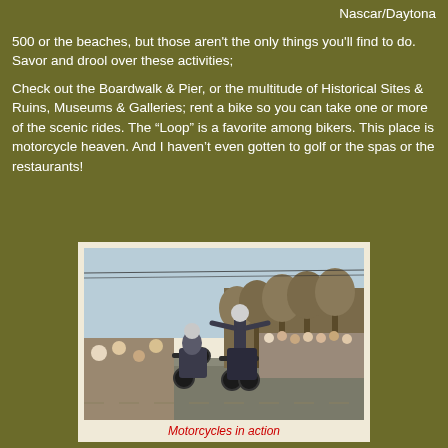Nascar/Daytona 500 or the beaches, but those aren't the only things you'll find to do. Savor and drool over these activities;
Check out the Boardwalk & Pier, or the multitude of Historical Sites & Ruins, Museums & Galleries; rent a bike so you can take one or more of the scenic rides. The “Loop” is a favorite among bikers. This place is motorcycle heaven. And I haven’t even gotten to golf or the spas or the restaurants!
[Figure (photo): Two motorcyclists performing wheelie stunts on a street while a large crowd of spectators watches from the sidewalk. Trees line the street in the background.]
Motorcycles in action